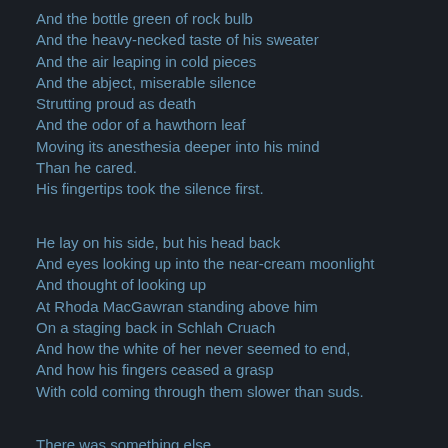And the bottle green of rock bulb
And the heavy-necked taste of his sweater
And the air leaping in cold pieces
And the abject, miserable silence
Strutting proud as death
And the odor of a hawthorn leaf
Moving its anesthesia deeper into his mind
Than he cared.
His fingertips took the silence first.
He lay on his side, but his head back
And eyes looking up into the near-cream moonlight
And thought of looking up
At Rhoda MacGawran standing above him
On a staging back in Schlah Cruach
And how the white of her never seemed to end,
And how his fingers ceased a grasp
With cold coming through them slower than suds.
There was something else.
He had forgotten something else.